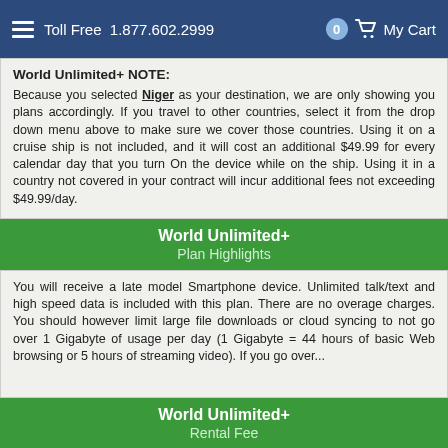Toll Free 1.877.602.2999  0  My Cart
World Unlimited+ NOTE:
Because you selected Niger as your destination, we are only showing you plans accordingly. If you travel to other countries, select it from the drop down menu above to make sure we cover those countries. Using it on a cruise ship is not included, and it will cost an additional $49.99 for every calendar day that you turn On the device while on the ship. Using it in a country not covered in your contract will incur additional fees not exceeding $49.99/day.
World Unlimited+ Plan Highlights
You will receive a late model Smartphone device. Unlimited talk/text and high speed data is included with this plan. There are no overage charges. You should however limit large file downloads or cloud syncing to not go over 1 Gigabyte of usage per day (1 Gigabyte = 44 hours of basic Web browsing or 5 hours of streaming video). If you go over...
World Unlimited+ Rental Fee
$49.99/day
7 Days Minimum.
World Unlimited+ FAQ